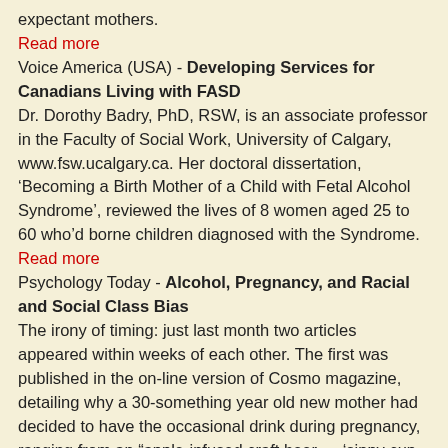expectant mothers.
Read more
Voice America (USA) - Developing Services for Canadians Living with FASD
Dr. Dorothy Badry, PhD, RSW, is an associate professor in the Faculty of Social Work, University of Calgary, www.fsw.ucalgary.ca. Her doctoral dissertation, ‘Becoming a Birth Mother of a Child with Fetal Alcohol Syndrome’, reviewed the lives of 8 women aged 25 to 60 who’d borne children diagnosed with the Syndrome.
Read more
Psychology Today - Alcohol, Pregnancy, and Racial and Social Class Bias
The irony of timing: just last month two articles appeared within weeks of each other. The first was published in the on-line version of Cosmo magazine, detailing why a 30-something year old new mother had decided to have the occasional drink during pregnancy, ranging from an “apple-infused craft beer — ‘sippy cup juice for adults’”— to “a glass or two of wine or a couple of beers per week” and champagne at her baby shower.
Read more